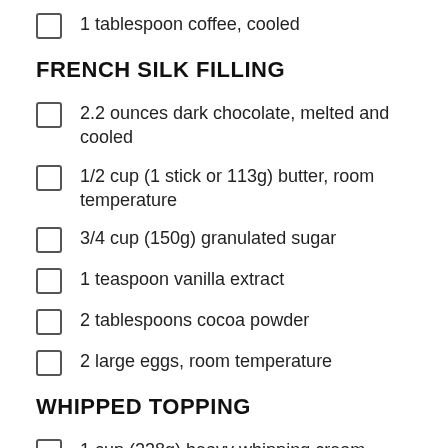1 tablespoon coffee, cooled
FRENCH SILK FILLING
2.2 ounces dark chocolate, melted and cooled
1/2 cup (1 stick or 113g) butter, room temperature
3/4 cup (150g) granulated sugar
1 teaspoon vanilla extract
2 tablespoons cocoa powder
2 large eggs, room temperature
WHIPPED TOPPING
1 cup (238g) heavy whipping cream
1/4 cup (31g) confectioners sugar